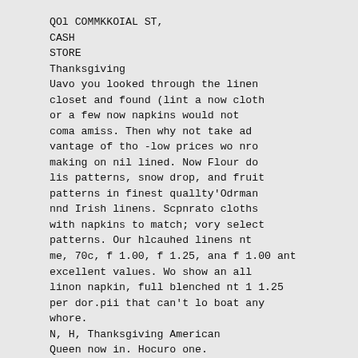QOl COMMKKOIAL ST,
CASH
STORE
Thanksgiving
Uavo you looked through the linen
closet and found (lint a now cloth
or a few now napkins would not
coma amiss. Then why not take ad
vantage of tho -low prices wo nro
making on nil lined. Now Flour do
lis patterns, snow drop, and fruit
patterns in finest quallty'Odrman
nnd Irish linens. Scpnrato cloths
with napkins to match; vory select
patterns. Our hlcauhed linens nt
me, 70c, f 1.00, f 1.25, ana f 1.00 ant
excellent values. Wo show an all
linon napkin, full blenched nt 1 1.25
per dor.pii that can't lo boat any
whore.
N, H, Thanksgiving American
Queen now in. Hocuro one.
Boys' Heavy
Ribbed Underwear